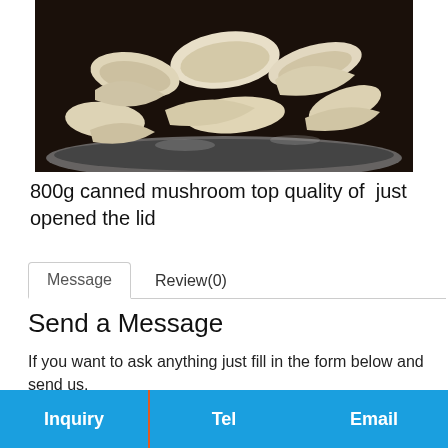[Figure (photo): Top-down view of an open metal can filled with sliced white mushrooms in liquid, photographed on a dark wooden surface.]
800g canned mushroom top quality of  just opened the lid
Message	Review(0)
Send a Message
If you want to ask anything just fill in the form below and send us.
Inquiry	Tel	Email